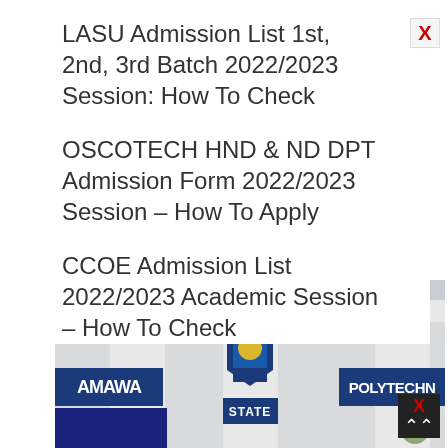LASU Admission List 1st, 2nd, 3rd Batch 2022/2023 Session: How To Check
OSCOTECH HND & ND DPT Admission Form 2022/2023 Session – How To Apply
CCOE Admission List 2022/2023 Academic Session – How To Check
[Figure (photo): Entrance gate sign of Adamawa State Polytechnic showing sign boards reading AMAWA, STATE, POLYTECHNIC with institutional logo/crest in the center.]